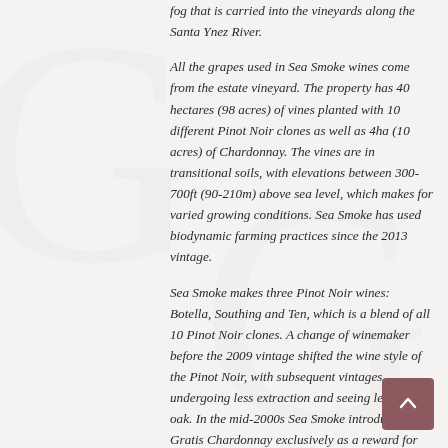fog that is carried into the vineyards along the Santa Ynez River.
All the grapes used in Sea Smoke wines come from the estate vineyard. The property has 40 hectares (98 acres) of vines planted with 10 different Pinot Noir clones as well as 4ha (10 acres) of Chardonnay. The vines are in transitional soils, with elevations between 300-700ft (90-210m) above sea level, which makes for varied growing conditions. Sea Smoke has used biodynamic farming practices since the 2013 vintage.
Sea Smoke makes three Pinot Noir wines: Botella, Southing and Ten, which is a blend of all 10 Pinot Noir clones. A change of winemaker before the 2009 vintage shifted the wine style of the Pinot Noir, with subsequent vintages undergoing less extraction and seeing less new oak. In the mid-2000s Sea Smoke introduced the Gratis Chardonnay exclusively as a reward for